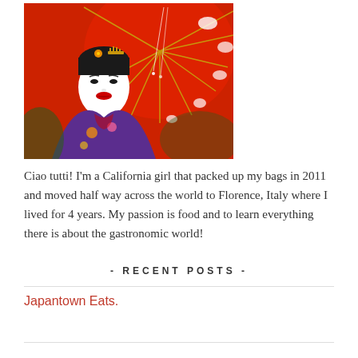[Figure (photo): A geisha woman in traditional white makeup, red lips, ornate hair accessories, wearing a purple floral kimono, holding a red parasol with white floral patterns]
Ciao tutti! I'm a California girl that packed up my bags in 2011 and moved half way across the world to Florence, Italy where I lived for 4 years. My passion is food and to learn everything there is about the gastronomic world!
- RECENT POSTS -
Japantown Eats.